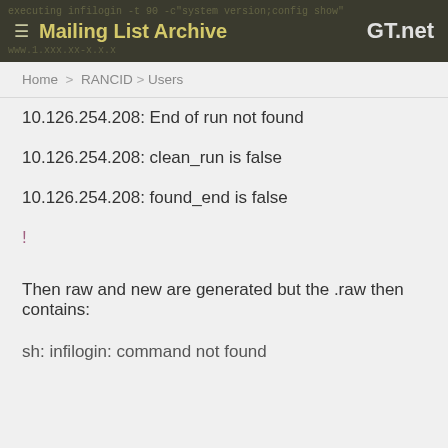≡ Mailing List Archive  GT.net
Home > RANCID > Users
10.126.254.208: End of run not found
10.126.254.208: clean_run is false
10.126.254.208: found_end is false
!
Then raw and new are generated but the .raw then contains:
sh: infilogin: command not found